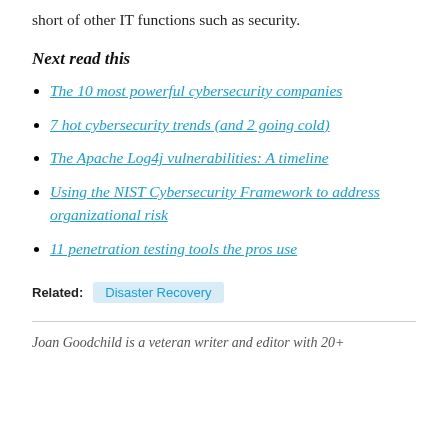short of other IT functions such as security.
Next read this
The 10 most powerful cybersecurity companies
7 hot cybersecurity trends (and 2 going cold)
The Apache Log4j vulnerabilities: A timeline
Using the NIST Cybersecurity Framework to address organizational risk
11 penetration testing tools the pros use
Related: Disaster Recovery
Joan Goodchild is a veteran writer and editor with 20+